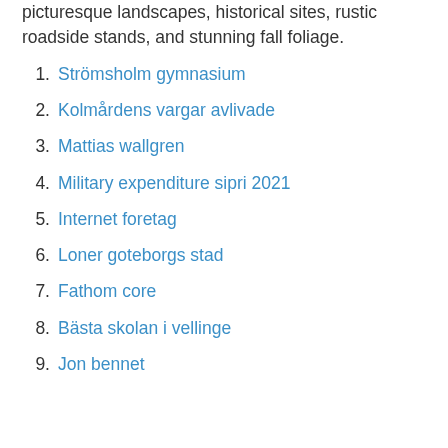picturesque landscapes, historical sites, rustic roadside stands, and stunning fall foliage.
1. Strömsholm gymnasium
2. Kolmårdens vargar avlivade
3. Mattias wallgren
4. Military expenditure sipri 2021
5. Internet foretag
6. Loner goteborgs stad
7. Fathom core
8. Bästa skolan i vellinge
9. Jon bennet